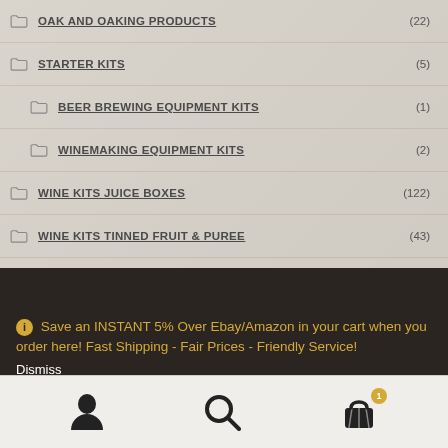OAK AND OAKING PRODUCTS (22)
STARTER KITS (5)
BEER BREWING EQUIPMENT KITS (1)
WINEMAKING EQUIPMENT KITS (2)
WINE KITS JUICE BOXES (122)
WINE KITS TINNED FRUIT & PUREE (43)
YEAST FOR WINE (60)
Save an INSTANT 5% Over Ebay/Amazon in your cart when you order here! Fast Shipping - Fair Prices - Friendly Service!
Dismiss